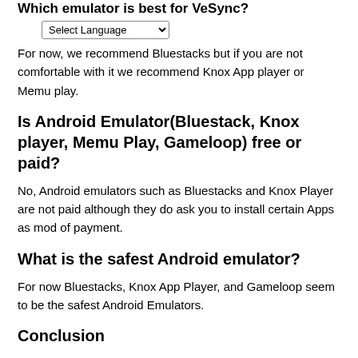Which emulator is best for VeSync?
Select Language (dropdown)
For now, we recommend Bluestacks but if you are not comfortable with it we recommend Knox App player or Memu play.
Is Android Emulator(Bluestack, Knox player, Memu Play, Gameloop) free or paid?
No, Android emulators such as Bluestacks and Knox Player are not paid although they do ask you to install certain Apps as mod of payment.
What is the safest Android emulator?
For now Bluestacks, Knox App Player, and Gameloop seem to be the safest Android Emulators.
Conclusion